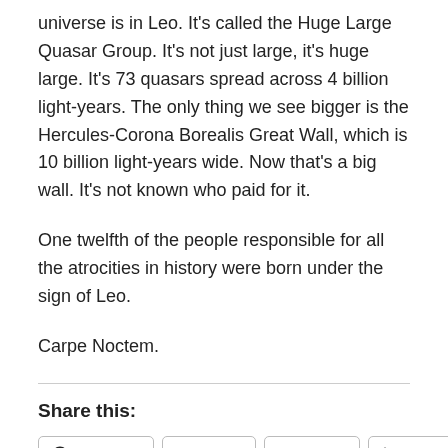universe is in Leo. It's called the Huge Large Quasar Group. It's not just large, it's huge large. It's 73 quasars spread across 4 billion light-years. The only thing we see bigger is the Hercules-Corona Borealis Great Wall, which is 10 billion light-years wide. Now that's a big wall. It's not known who paid for it.
One twelfth of the people responsible for all the atrocities in history were born under the sign of Leo.
Carpe Noctem.
Share this:
Facebook  Twitter  Tumblr  LinkedIn  Pinterest  Reddit  Print  Email